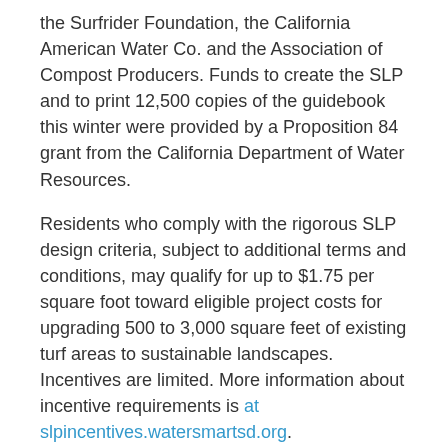the Surfrider Foundation, the California American Water Co. and the Association of Compost Producers. Funds to create the SLP and to print 12,500 copies of the guidebook this winter were provided by a Proposition 84 grant from the California Department of Water Resources.
Residents who comply with the rigorous SLP design criteria, subject to additional terms and conditions, may qualify for up to $1.75 per square foot toward eligible project costs for upgrading 500 to 3,000 square feet of existing turf areas to sustainable landscapes. Incentives are limited. More information about incentive requirements is at slpincentives.watersmartsd.org.
Besides being available at locations countywide, the guidebooks are provided to participants in the Water Authority's four-class WaterSmart Landscape Makeover Series. These free, award-winning and interactive classes teach participants SLP principles and are held over four consecutive weeks. The Water Authority will host two sessions of the Landscape Makeover Series in March and